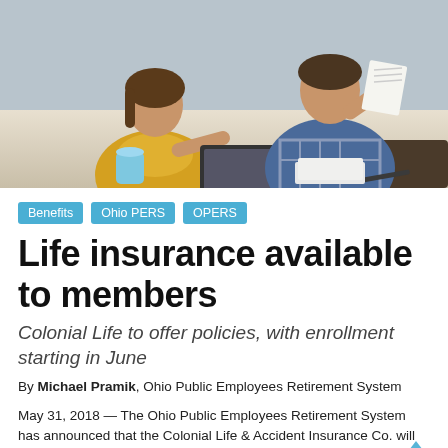[Figure (photo): Two people sitting on a couch looking at documents and a laptop, with a blue mug on the table. Woman in yellow blouse, man in plaid shirt.]
Benefits
Ohio PERS
OPERS
Life insurance available to members
Colonial Life to offer policies, with enrollment starting in June
By Michael Pramik, Ohio Public Employees Retirement System
May 31, 2018 — The Ohio Public Employees Retirement System has announced that the Colonial Life & Accident Insurance Co. will begin offering term life and whole life policies to OPERS members